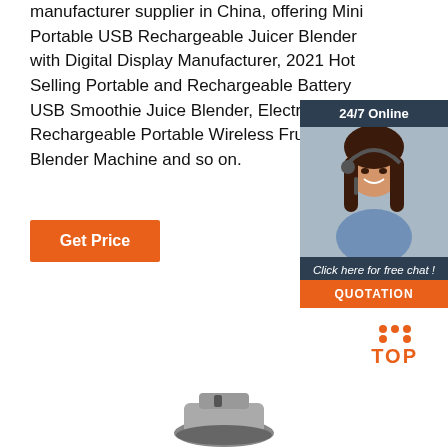manufacturer supplier in China, offering Mini Portable USB Rechargeable Juicer Blender with Digital Display Manufacturer, 2021 Hot Selling Portable and Rechargeable Battery USB Smoothie Juice Blender, Electric USB Rechargeable Portable Wireless Fruit Blender Machine and so on.
Get Price
[Figure (infographic): 24/7 Online chat widget with a woman wearing a headset, dark navy background, 'Click here for free chat!' text, and an orange QUOTATION button]
[Figure (illustration): Orange dotted triangle TOP icon for scroll-to-top button]
[Figure (photo): Partially visible blender/juicer product image at the bottom of the page]